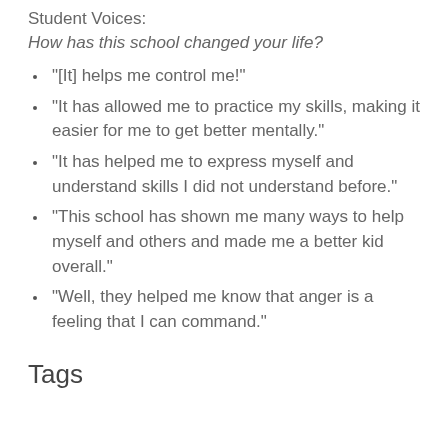Student Voices:
How has this school changed your life?
"[It] helps me control me!"
"It has allowed me to practice my skills, making it easier for me to get better mentally."
"It has helped me to express myself and understand skills I did not understand before."
"This school has shown me many ways to help myself and others and made me a better kid overall."
"Well, they helped me know that anger is a feeling that I can command."
Tags